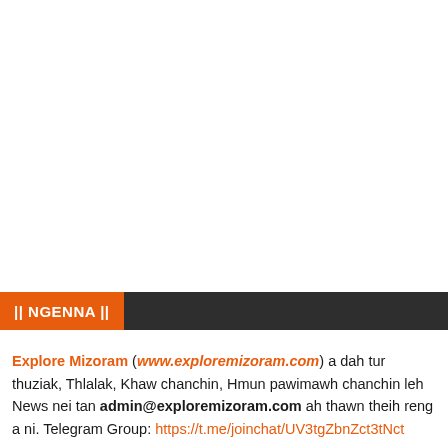|| NGENNA ||
Explore Mizoram (www.exploremizoram.com) a dah tur thuziak, Thlalak, Khaw chanchin, Hmun pawimawh chanchin leh News nei tan admin@exploremizoram.com ah thawn theih reng a ni. Telegram Group: https://t.me/joinchat/UV3tgZbnZct3tNct